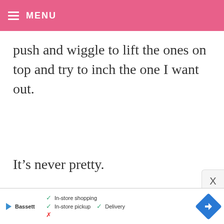MENU
push and wiggle to lift the ones on top and try to inch the one I want out.
It’s never pretty.